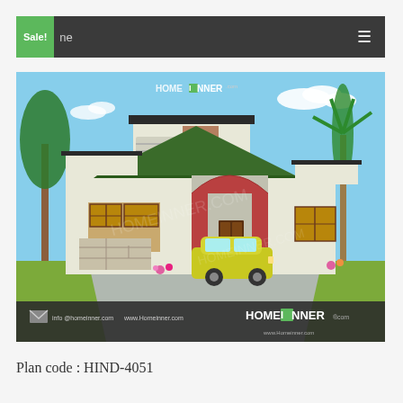Sale! ne ≡
[Figure (photo): 3D rendered exterior view of a single-storey residential house with green sloping roof, white walls, wooden windows, arched portico entrance, yellow car parked, palm trees, HOMEINNER.com watermark and branding at bottom.]
Plan code : HIND-4051